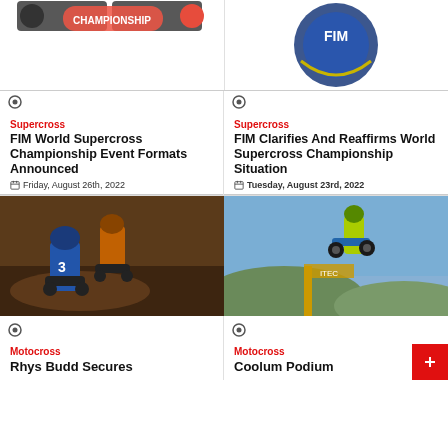[Figure (logo): Supercross championship logo (partial, cropped top)]
[Figure (logo): FIM logo (partial, cropped top)]
Supercross
FIM World Supercross Championship Event Formats Announced
Friday, August 26th, 2022
Supercross
FIM Clarifies And Reaffirms World Supercross Championship Situation
Tuesday, August 23rd, 2022
[Figure (photo): Motocross riders racing on dirt track, rider number 3 in foreground on blue bike]
[Figure (photo): Motocross rider jumping on bike against blue sky]
Motocross
Rhys Budd Secures
Motocross
Coolum Podium